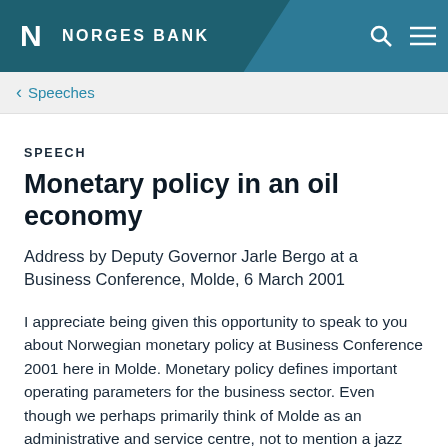NORGES BANK
Speeches
SPEECH
Monetary policy in an oil economy
Address by Deputy Governor Jarle Bergo at a Business Conference, Molde, 6 March 2001
I appreciate being given this opportunity to speak to you about Norwegian monetary policy at Business Conference 2001 here in Molde. Monetary policy defines important operating parameters for the business sector. Even though we perhaps primarily think of Molde as an administrative and service centre, not to mention a jazz centre – and a very attractive one